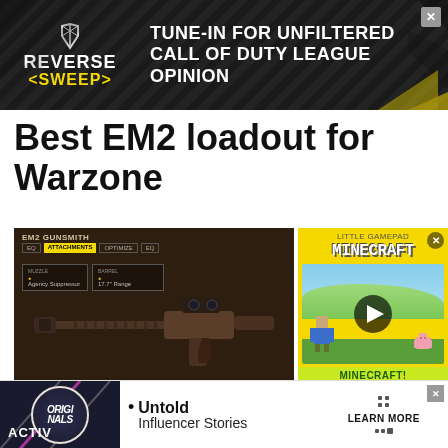[Figure (screenshot): Reverse Sweep podcast advertisement banner: dark background with diagonal chevron pattern, Reverse Sweep logo in white/yellow, text 'TUNE-IN FOR UNFILTERED CALL OF DUTY LEAGUE OPINION' in white uppercase, yellow diagonal bar at bottom right, X close button top right]
Best EM2 loadout for Warzone
[Figure (screenshot): EM2 Gunsmith screen from Call of Duty with dark brown background showing the EM2 assault rifle with attachments panel visible. A Minecraft advertisement overlay appears on the right side with yellow background, Minecraft logo, scenic landscape with play button, and 'MINECRAFT!' label.]
[Figure (screenshot): Bottom advertisement banner with Originals logo on dark background left, bullet point 'Untold Influencer Stories' in center, and 'LEARN MORE' with grid dots on right. ACTIV text visible at bottom left.]